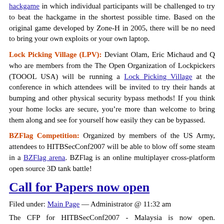hackgame in which individual participants will be challenged to try to beat the hackgame in the shortest possible time. Based on the original game developed by Zone-H in 2005, there will be no need to bring your own exploits or your own laptop.
Lock Picking Village (LPV): Deviant Olam, Eric Michaud and Q who are members from the The Open Organization of Lockpickers (TOOOL USA) will be running a Lock Picking Village at the conference in which attendees will be invited to try their hands at bumping and other physical security bypass methods! If you think your home locks are secure, you’re more than welcome to bring them along and see for yourself how easily they can be bypassed.
BZFlag Competition: Organized by members of the US Army, attendees to HITBSecConf2007 will be able to blow off some steam in a BZFlag arena. BZFlag is an online multiplayer cross-platform open source 3D tank battle!
Call for Papers now open
Filed under: Main Page — Administrator @ 11:32 am
The CFP for HITBSecConf2007 - Malaysia is now open. HITBSecConf - Malaysia is the premier network security event for the region and the largest gathering of hackers in Asia. Our 2007...